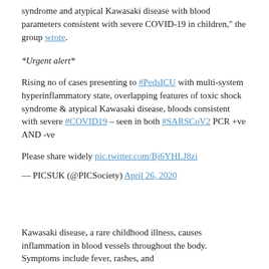syndrome and atypical Kawasaki disease with blood parameters consistent with severe COVID-19 in children," the group wrote.
*Urgent alert*
Rising no of cases presenting to #PedsICU with multi-system hyperinflammatory state, overlapping features of toxic shock syndrome & atypical Kawasaki disease, bloods consistent with severe #COVID19 – seen in both #SARSCoV2 PCR +ve AND -ve
Please share widely pic.twitter.com/Bj6YHLJ8zi
— PICSUK (@PICSociety) April 26, 2020
Kawasaki disease, a rare childhood illness, causes inflammation in blood vessels throughout the body. Symptoms include fever, rashes, and